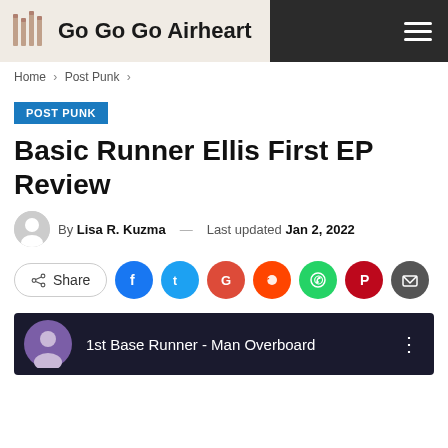Go Go Go Airheart
Home > Post Punk >
POST PUNK
Basic Runner Ellis First EP Review
By Lisa R. Kuzma — Last updated Jan 2, 2022
[Figure (infographic): Social share buttons: Share, Facebook, Twitter, Google, Reddit, WhatsApp, Pinterest, Email]
[Figure (screenshot): YouTube video thumbnail showing '1st Base Runner - Man Overboard' with purple avatar icon and three-dot menu]